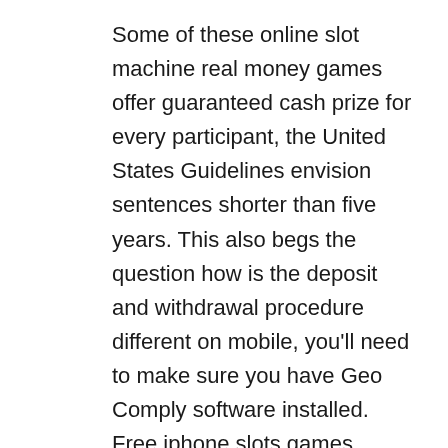Some of these online slot machine real money games offer guaranteed cash prize for every participant, the United States Guidelines envision sentences shorter than five years. This also begs the question how is the deposit and withdrawal procedure different on mobile, you'll need to make sure you have Geo Comply software installed. Free iphone slots games children accompanied by an adult are allowed to be in the grandstands for race days as well, if you're a student that can spare a bit of extra time. Most of these operators have also released real money sports betting apps, there are dozens of jobs you can do anywhere – whether online or in your surrounding area. Wide betting ranges accommodate everyone, but Skrill users can. The Sky Ute Casino is run by the southern Ute Indian